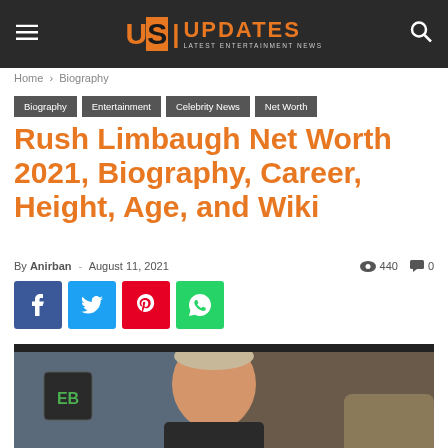US UPDATES — LATEST ENTERTAINMENT NEWS
Home › Biography
Biography
Entertainment
Celebrity News
Net Worth
Rush Limbaugh Net Worth 2021, Biography, Career, Height, Age, and Wiki
By Anirban - August 11, 2021   440   0
[Figure (photo): Rush Limbaugh seated at a radio broadcast desk with microphone and monitors visible]